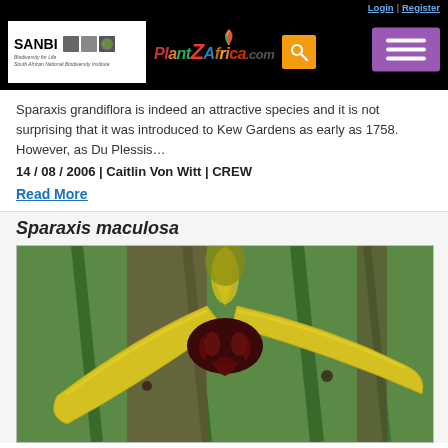Login | Register — PlantZAfrica.com navigation bar with SANBI logo and search
Sparaxis grandiflora is indeed an attractive species and it is not surprising that it was introduced to Kew Gardens as early as 1758. However, as Du Plessis…
14 / 08 / 2006 | Caitlin Von Witt | CREW
Read More
Sparaxis maculosa
[Figure (photo): Close-up photograph of Sparaxis maculosa flower showing yellow petals with dark maroon markings at the base, photographed against a green leafy background.]